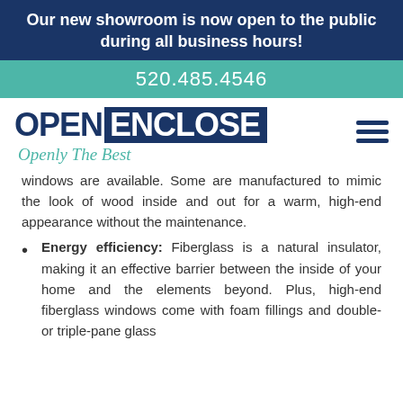Our new showroom is now open to the public during all business hours!
520.485.4546
[Figure (logo): OpenEnclose logo with tagline 'Openly The Best' and hamburger menu icon]
windows are available. Some are manufactured to mimic the look of wood inside and out for a warm, high-end appearance without the maintenance.
Energy efficiency: Fiberglass is a natural insulator, making it an effective barrier between the inside of your home and the elements beyond. Plus, high-end fiberglass windows come with foam fillings and double- or triple-pane glass